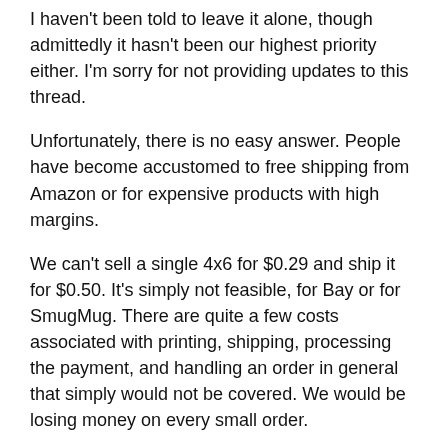I haven't been told to leave it alone, though admittedly it hasn't been our highest priority either. I'm sorry for not providing updates to this thread.
Unfortunately, there is no easy answer. People have become accustomed to free shipping from Amazon or for expensive products with high margins.
We can't sell a single 4x6 for $0.29 and ship it for $0.50. It's simply not feasible, for Bay or for SmugMug. There are quite a few costs associated with printing, shipping, processing the payment, and handling an order in general that simply would not be covered. We would be losing money on every small order.
I just tried ordering a single 4x6 without color correction from bayphoto.com. The print is $0.49, higher than SmugMug's price without correction, and the shipping from their facility to my house (a total distance of less than 30 miles as the crow flies), is $5.99 for the cheapest option.
The biggest challenge for me right now is simply not knowing how much we will be charged at the time of checkout or after